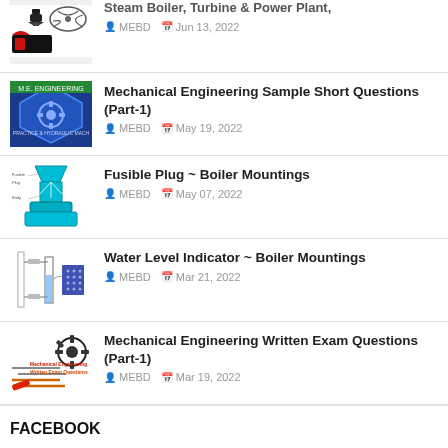Steam Boiler, Turbine & Power Plant — MEBD, Jun 13, 2022
Mechanical Engineering Sample Short Questions (Part-1) — MEBD, May 19, 2022
Fusible Plug ~ Boiler Mountings — MEBD, May 07, 2022
Water Level Indicator ~ Boiler Mountings — MEBD, Mar 21, 2022
Mechanical Engineering Written Exam Questions (Part-1) — MEBD, Mar 19, 2022
FACEBOOK